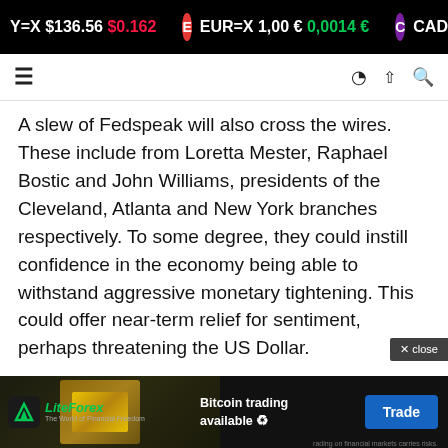Y=X $136.56 $0.162 | EUR=X 1,00 € 0,0014 € | CAD=X $...
A slew of Fedspeak will also cross the wires. These include from Loretta Mester, Raphael Bostic and John Williams, presidents of the Cleveland, Atlanta and New York branches respectively. To some degree, they could instill confidence in the economy being able to withstand aggressive monetary tightening. This could offer near-term relief for sentiment, perhaps threatening the US Dollar.
However, all things considered, the greenback still remains in a position to continue capitalizing against its...
[Figure (screenshot): LiteForex advertisement banner: Bitcoin trading available, with Trade button]